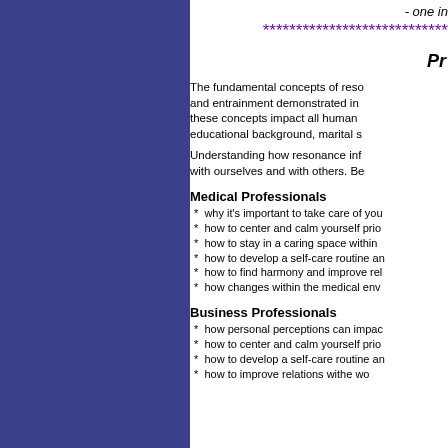- one in
****************************
Pr
The fundamental concepts of reso and entrainment demonstrated in these concepts impact all human educational background, marital s
Understanding how resonance inf with ourselves and with others. Be
Medical Professionals
* why it's important to take care of you
* how to center and calm yourself prio
* how to stay in a caring space within
* how to develop a self-care routine an
* how to find harmony and improve rel
* how changes within the medical env
Business Professionals
* how personal perceptions can impac
* how to center and calm yourself prio
* how to develop a self-care routine an
* how to improve relations withe wo